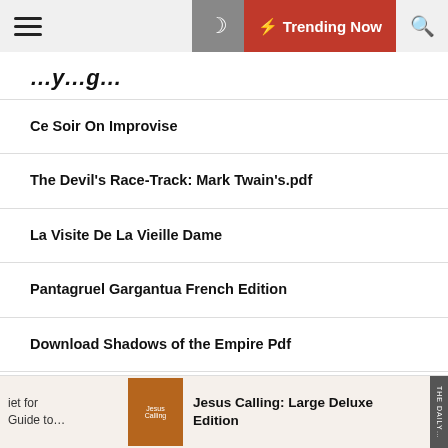Trending Now
Ce Soir On Improvise
The Devil's Race-Track: Mark Twain's.pdf
La Visite De La Vieille Dame
Pantagruel Gargantua French Edition
Download Shadows of the Empire Pdf
Download The Darkest Minds (Bonus Content) Pdf
Download Sorrow Bringer Pdf
Jesus Calling: Large Deluxe Edition